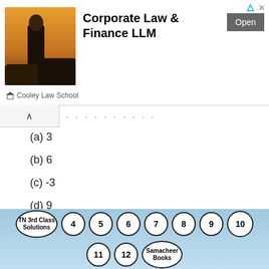[Figure (illustration): Advertisement banner for Corporate Law & Finance LLM by Cooley Law School with a man in a suit, Open button, and close/arrow icons]
(a) 3
(b) 6
(c) -3
(d) 9
Answer:
(d) 9
Question 2.
An excess of silver nitrate is added to 100ml of a